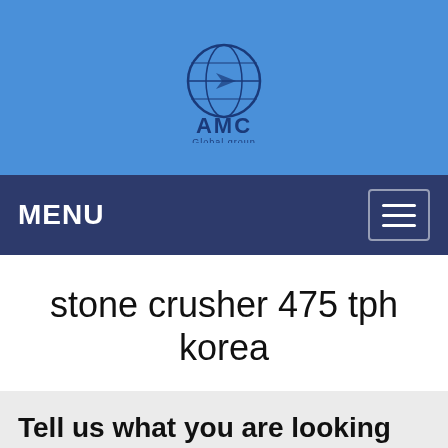[Figure (logo): AMC Global group logo — globe icon with 'AMC' text and 'Global group' subtitle, displayed on a blue background]
MENU
stone crusher 475 tph korea
Tell us what you are looking for?
Please fill in and submit the following form, our service team will contact you as soon as possible and provide a complete solution.